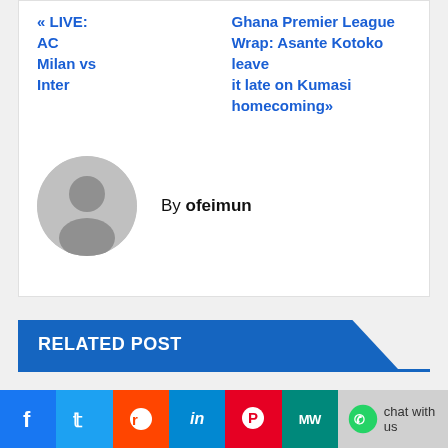« LIVE: AC Milan vs Inter | Ghana Premier League Wrap: Asante Kotoko leave it late on Kumasi homecoming »
By ofeimun
RELATED POST
[Figure (other): Social share bar with Facebook, Twitter, Reddit, LinkedIn, Pinterest, MeWe, and WhatsApp chat buttons]